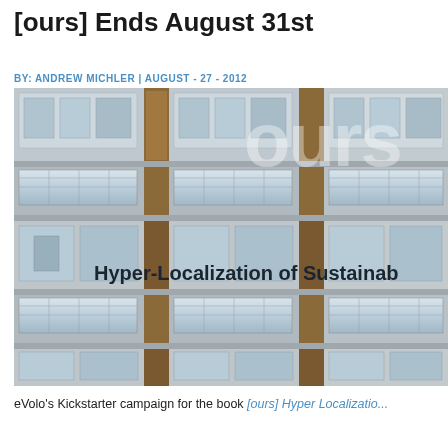[ours] Ends August 31st
BY: ANDREW MICHLER | AUGUST - 27 - 2012
[Figure (photo): Photo of a modern apartment building facade with balconies and solar panels. Overlaid with large semi-transparent text 'ours' in the upper right and bold text 'Hyper-Localization of Sustainab' in the lower middle area.]
eVolo's Kickstarter campaign for the book [ours] Hyper Localizatio...